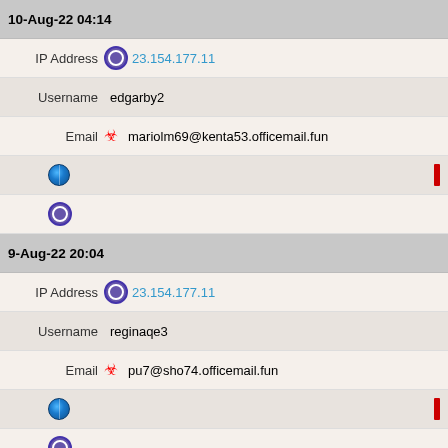10-Aug-22 04:14
IP Address 23.154.177.11
Username edgarby2
Email mariolm69@kenta53.officemail.fun
[Figure (other): Globe icon with red bar indicator]
[Figure (other): Tor/Opera browser icon]
9-Aug-22 20:04
IP Address 23.154.177.11
Username reginaqe3
Email pu7@sho74.officemail.fun
[Figure (other): Globe icon with red bar indicator]
[Figure (other): Tor/Opera browser icon]
9-Aug-22 13:03
IP Address 23.154.177.11
Username keriot60
Email danahe4@kenshin2810.masato41.officemail.in.net
[Figure (other): Globe icon with red bar indicator]